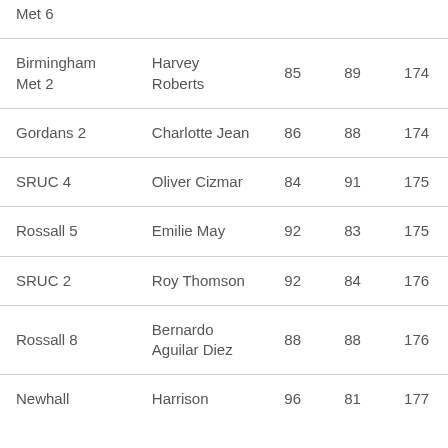| Met 6 |  |  |  |  |
| Birmingham Met 2 | Harvey Roberts | 85 | 89 | 174 |
| Gordans 2 | Charlotte Jean | 86 | 88 | 174 |
| SRUC 4 | Oliver Cizmar | 84 | 91 | 175 |
| Rossall 5 | Emilie May | 92 | 83 | 175 |
| SRUC 2 | Roy Thomson | 92 | 84 | 176 |
| Rossall 8 | Bernardo Aguilar Diez | 88 | 88 | 176 |
| Newhall | Harrison | 96 | 81 | 177 |